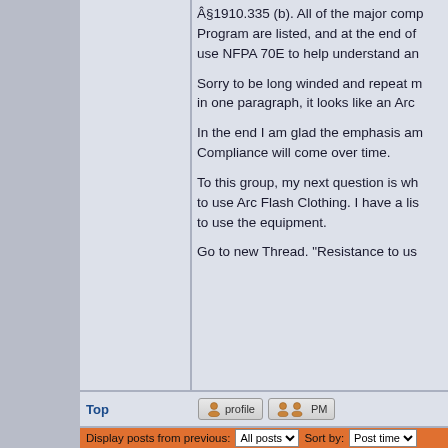§1910.335 (b). All of the major components of the Program are listed, and at the end of use NFPA 70E to help understand an
Sorry to be long winded and repeat m in one paragraph, it looks like an Arc
In the end I am glad the emphasis am Compliance will come over time.
To this group, my next question is wh to use Arc Flash Clothing. I have a lis to use the equipment.
Go to new Thread. "Resistance to us
Top
[Figure (screenshot): Profile and PM buttons in forum interface]
Display posts from previous:
All posts
Sort by:
Post time